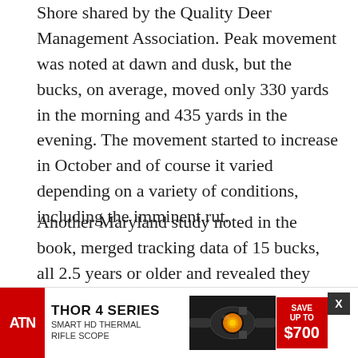Shore shared by the Quality Deer Management Association. Peak movement was noted at dawn and dusk, but the bucks, on average, moved only 330 yards in the morning and 435 yards in the evening. The movement started to increase in October and of course it varied depending on a variety of conditions, including the imminent rut.
Another Maryland study noted in the book, merged tracking data of 15 bucks, all 2.5 years or older and revealed they were pretty much homebodies year-round. On average the entire group had an overall home range of 740 acres and a core range, where they spend at least 50 percent of their time, of just 100 acres.
Data h... ions and be... your
[Figure (screenshot): ATN THOR 4 SERIES SMART HD THERMAL RIFLE SCOPE advertisement banner with red logo, scope image, and SAVE UP TO $700 badge. Has a close button (X) in the top right corner.]